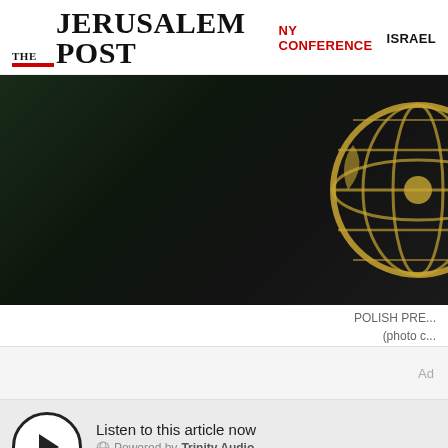THE JERUSALEM POST | NY CONFERENCE | ISRAEL
[Figure (photo): Dark photo showing the UN emblem (gold) on dark background, appears to be a UN General Assembly hall setting]
POLISH PRE... (photo c...
Ad
Listen to this article now
Powered by Trinity Audio
00:00
Polish President Andrzej Duda on... crime to blame the "Polish Nation... Holocaust, despite a furious re...